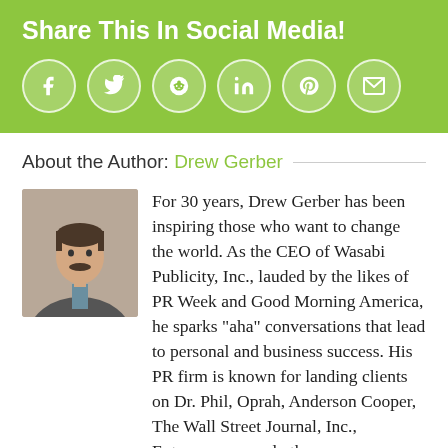Share This In Social Media!
[Figure (infographic): Social media sharing icons: Facebook, Twitter, Reddit, LinkedIn, Pinterest, Email — white circular icons on green background]
About the Author: Drew Gerber
[Figure (photo): Headshot photo of Drew Gerber, a man in a suit with a mustache]
For 30 years, Drew Gerber has been inspiring those who want to change the world. As the CEO of Wasabi Publicity, Inc., lauded by the likes of PR Week and Good Morning America, he sparks "aha" conversations that lead to personal and business success. His PR firm is known for landing clients on Dr. Phil, Oprah, Anderson Cooper, The Wall Street Journal, Inc., Entrepreneur, and other